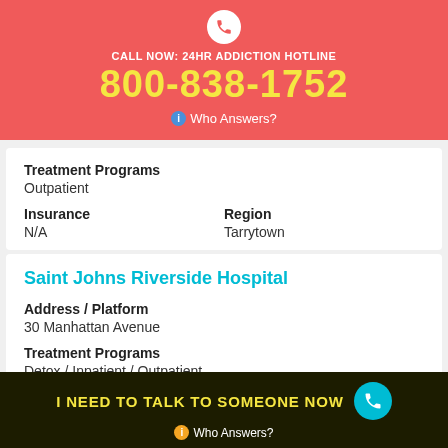CALL NOW: 24HR ADDICTION HOTLINE 800-838-1752 Who Answers?
Treatment Programs
Outpatient
Insurance
N/A
Region
Tarrytown
Saint Johns Riverside Hospital
Address / Platform
30 Manhattan Avenue
Treatment Programs
Detox / Inpatient / Outpatient
I NEED TO TALK TO SOMEONE NOW Who Answers?